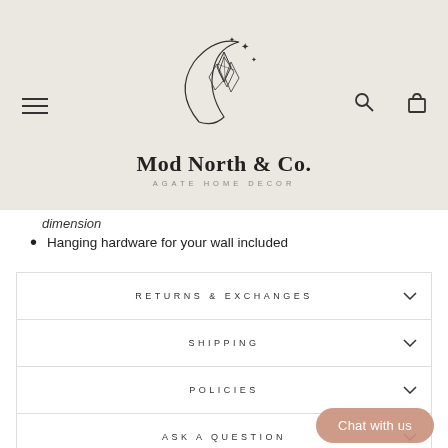[Figure (logo): Mod North & Co. logo featuring a crescent moon with geometric crystals and sparkle stars, with text 'Mod North & Co.' and 'AGATE HOME DECOR' below]
dimension
Hanging hardware for your wall included
RETURNS & EXCHANGES
SHIPPING
POLICIES
ASK A QUESTION